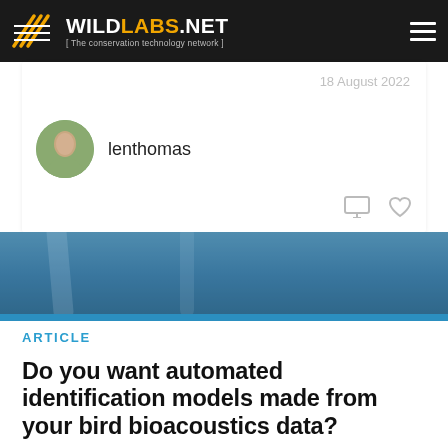WILDLABS.NET [ The conservation technology network ]
18 August 2022
lenthomas
[Figure (photo): Blue-toned background image with blurred outdoor scene]
ARTICLE
Do you want automated identification models made from your bird bioacoustics data?